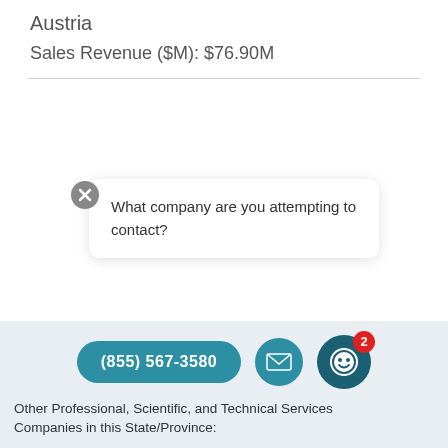Austria
Sales Revenue ($M): $76.90M
[Figure (screenshot): Chat widget popup with close button and message: What company are you attempting to contact?]
[Figure (screenshot): Bottom action bar with phone button (855) 567-3580, email icon button, and chatbot icon button with badge showing 2]
Other Professional, Scientific, and Technical Services Companies in this State/Province: